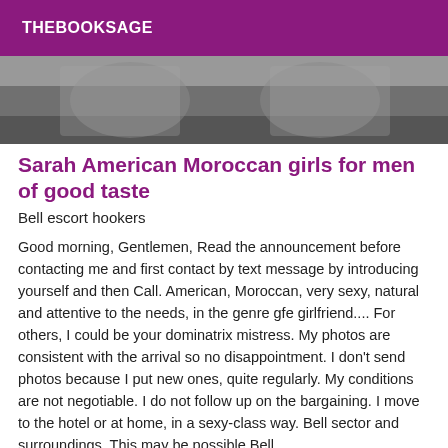THEBOOKSAGE
[Figure (photo): Partial photo showing people wearing grey t-shirts, cropped view of torsos]
Sarah American Moroccan girls for men of good taste
Bell escort hookers
Good morning, Gentlemen, Read the announcement before contacting me and first contact by text message by introducing yourself and then Call. American, Moroccan, very sexy, natural and attentive to the needs, in the genre gfe girlfriend.... For others, I could be your dominatrix mistress. My photos are consistent with the arrival so no disappointment. I don't send photos because I put new ones, quite regularly. My conditions are not negotiable. I do not follow up on the bargaining. I move to the hotel or at home, in a sexy-class way. Bell sector and surroundings. This may be possible Bell